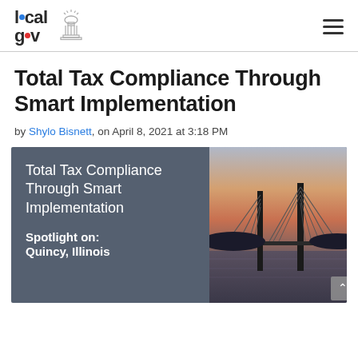local gov [logo with capitol building icon]
Total Tax Compliance Through Smart Implementation
by Shylo Bisnett, on April 8, 2021 at 3:18 PM
[Figure (illustration): Feature image combining a dark grey panel with white text reading 'Total Tax Compliance Through Smart Implementation' and 'Spotlight on: Quincy, Illinois', alongside a photograph of a cable-stayed bridge at sunset over a river.]